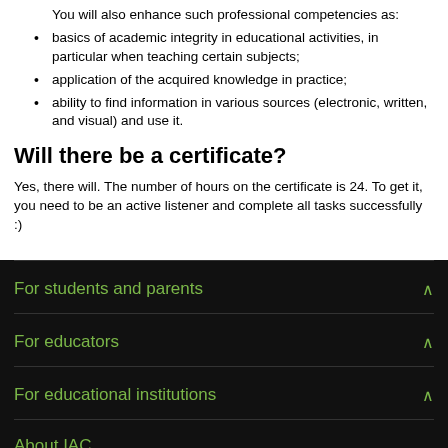You will also enhance such professional competencies as:
basics of academic integrity in educational activities, in particular when teaching certain subjects;
application of the acquired knowledge in practice;
ability to find information in various sources (electronic, written, and visual) and use it.
Will there be a certificate?
Yes, there will. The number of hours on the certificate is 24. To get it, you need to be an active listener and complete all tasks successfully :)
For students and parents
For educators
For educational institutions
About IAC